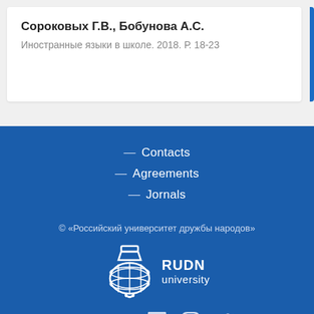Сороковых Г.В., Бобунова А.С.
Иностранные языки в школе. 2018. Р. 18-23
— Contacts
— Agreements
— Jornals
© «Российский университет дружбы народов»
[Figure (logo): RUDN University logo with globe and flask emblem, white on blue background, with text RUDN university]
[Figure (infographic): Social media icons: VK, YouTube, Facebook, Instagram, Twitter]